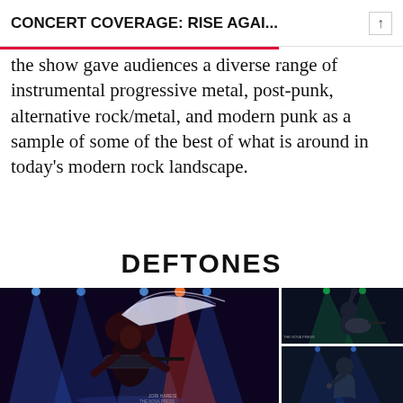CONCERT COVERAGE: RISE AGAI...
the show gave audiences a diverse range of instrumental progressive metal, post-punk, alternative rock/metal, and modern punk as a sample of some of the best of what is around in today's modern rock landscape.
DEFTONES
[Figure (photo): Concert photo of a guitarist with wild flying hair under colorful stage lights, playing guitar on a dark stage with blue and red lighting]
[Figure (photo): Concert photo of a guitarist raising hand with green stage lighting]
[Figure (photo): Concert photo of a vocalist/performer on stage with blue stage lighting]